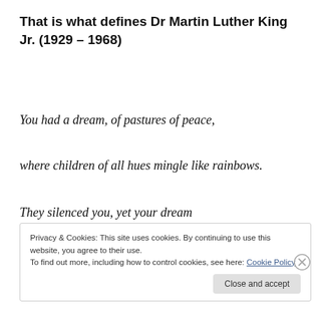That is what defines Dr Martin Luther King Jr. (1929 – 1968)
You had a dream, of pastures of peace,
where children of all hues mingle like rainbows.
They silenced you, yet your dream
resounds louder still.
Privacy & Cookies: This site uses cookies. By continuing to use this website, you agree to their use. To find out more, including how to control cookies, see here: Cookie Policy